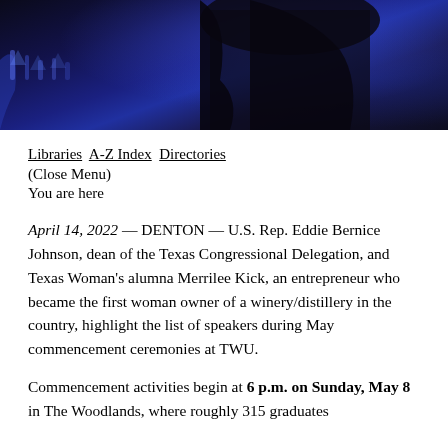[Figure (photo): Partial photo of a woman with dark hair against a blue-lit dark background, cropped at the top of the page]
Libraries  A-Z Index  Directories
(Close Menu)
You are here
April 14, 2022 — DENTON — U.S. Rep. Eddie Bernice Johnson, dean of the Texas Congressional Delegation, and Texas Woman's alumna Merrilee Kick, an entrepreneur who became the first woman owner of a winery/distillery in the country, highlight the list of speakers during May commencement ceremonies at TWU.
Commencement activities begin at 6 p.m. on Sunday, May 8 in The Woodlands, where roughly 315 graduates